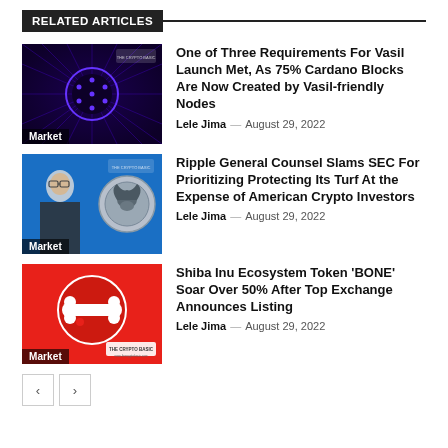RELATED ARTICLES
[Figure (photo): Dark blue/purple background with Cardano logo circle in center with radiating lines. Label 'Market' bottom left.]
One of Three Requirements For Vasil Launch Met, As 75% Cardano Blocks Are Now Created by Vasil-friendly Nodes
Lele Jima — August 29, 2022
[Figure (photo): Blue background with man in suit on left and SEC eagle seal on right. Label 'Market' bottom left.]
Ripple General Counsel Slams SEC For Prioritizing Protecting Its Turf At the Expense of American Crypto Investors
Lele Jima — August 29, 2022
[Figure (photo): Red background with cartoon bone/paw icon in circle. Label 'Market' and The Crypto Basic logo bottom left.]
Shiba Inu Ecosystem Token 'BONE' Soar Over 50% After Top Exchange Announces Listing
Lele Jima — August 29, 2022